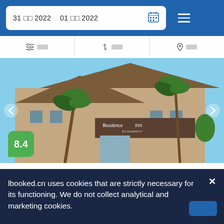31 □□ 2022  01 □□ 2022
□□□□   ↑↓ □□□□   ♡ □□□□
[Figure (photo): Exterior photo of Residence Inn hotel with palm trees, brown siding, and triangular rooflines under a blue sky. Score badge showing 8.4 in green.]
□□
27□□
□□□□□ 1.8□□
□Shiffer Park 700□
□□□□□□□□□□□□□144□□□□□□□□□□□□□
lbooked.cn uses cookies that are strictly necessary for its functioning. We do not collect analytical and marketing cookies.